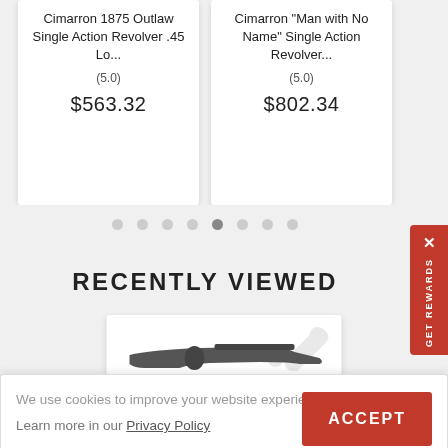[Figure (other): Product card: Cimarron 1875 Outlaw Single Action Revolver .45 Lo... rated (5.0), priced at $563.32]
[Figure (other): Product card: Cimarron "Man with No Name" Single Action Revolver... rated (5.0), priced at $802.34]
[Figure (other): Pagination dots row with 8 dots]
RECENTLY VIEWED
[Figure (photo): Recently viewed product card with a revolver/pistol image and bone icon]
We use cookies to improve your website experience. Learn more in our Privacy Policy